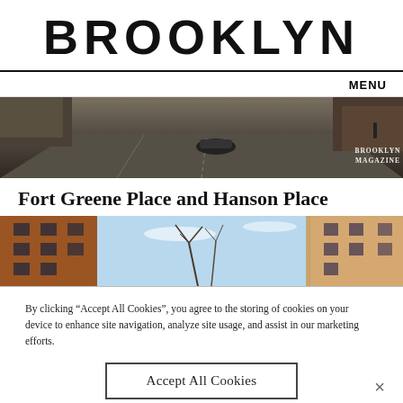BROOKLYN
MENU
[Figure (photo): Wide-angle street scene showing a car on a cobblestone road with brick buildings, watermark reads BROOKLYN MAGAZINE]
Fort Greene Place and Hanson Place
[Figure (photo): Upward-angle view of brick apartment buildings framing a blue sky with bare trees]
By clicking “Accept All Cookies”, you agree to the storing of cookies on your device to enhance site navigation, analyze site usage, and assist in our marketing efforts.
Accept All Cookies